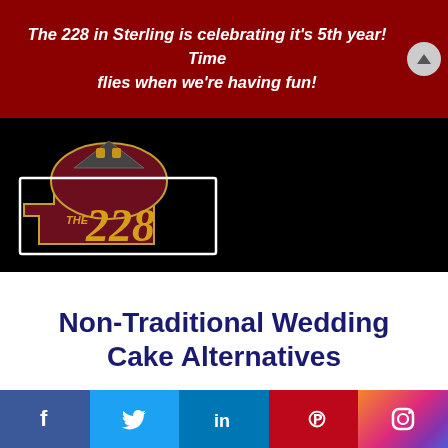The 228 in Sterling is celebrating it's 5th year! Time flies when we're having fun!
[Figure (logo): The 228 venue logo — a stylized house/building silhouette in dark red with golden text reading 'THE 228', on a black background]
Non-Traditional Wedding Cake Alternatives
[Figure (infographic): Social media icon bar with Facebook, Twitter, LinkedIn, Pinterest, and Instagram icons]